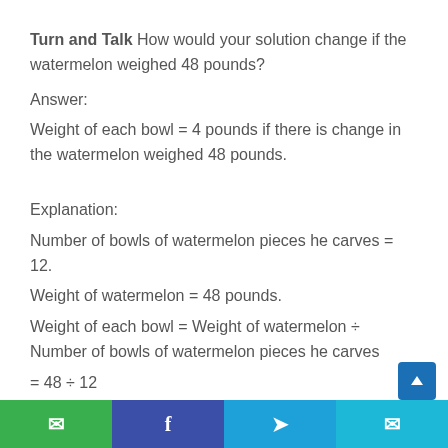Turn and Talk How would your solution change if the watermelon weighed 48 pounds?
Answer:
Weight of each bowl = 4 pounds if there is change in the watermelon weighed 48 pounds.
Explanation:
Number of bowls of watermelon pieces he carves = 12.
Weight of watermelon = 48 pounds.
Weight of each bowl = Weight of watermelon ÷ Number of bowls of watermelon pieces he carves
= 48 ÷ 12